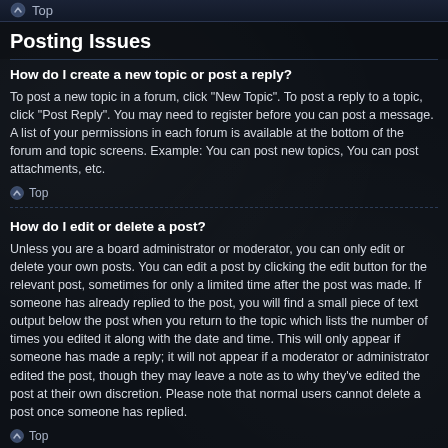Top
Posting Issues
How do I create a new topic or post a reply?
To post a new topic in a forum, click "New Topic". To post a reply to a topic, click "Post Reply". You may need to register before you can post a message. A list of your permissions in each forum is available at the bottom of the forum and topic screens. Example: You can post new topics, You can post attachments, etc.
Top
How do I edit or delete a post?
Unless you are a board administrator or moderator, you can only edit or delete your own posts. You can edit a post by clicking the edit button for the relevant post, sometimes for only a limited time after the post was made. If someone has already replied to the post, you will find a small piece of text output below the post when you return to the topic which lists the number of times you edited it along with the date and time. This will only appear if someone has made a reply; it will not appear if a moderator or administrator edited the post, though they may leave a note as to why they've edited the post at their own discretion. Please note that normal users cannot delete a post once someone has replied.
Top
How do I add a signature to my post?
To add a signature to a post you must first create one via your User Control